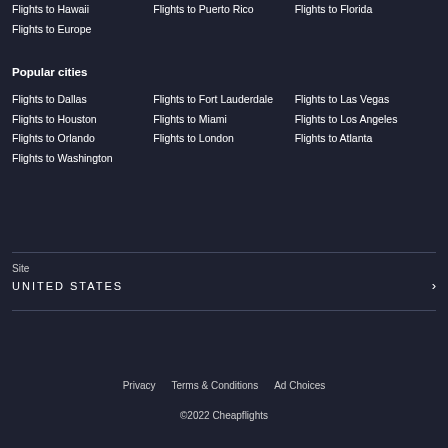Flights to Hawaii
Flights to Puerto Rico
Flights to Florida
Flights to Europe
Popular cities
Flights to Dallas
Flights to Fort Lauderdale
Flights to Las Vegas
Flights to Houston
Flights to Miami
Flights to Los Angeles
Flights to Orlando
Flights to London
Flights to Atlanta
Flights to Washington
Site
UNITED STATES
Privacy   Terms & Conditions   Ad Choices   ©2022 Cheapflights